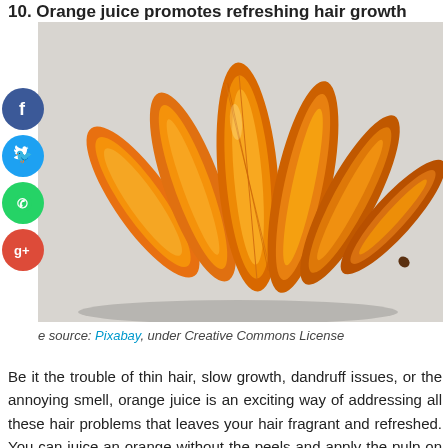10. Orange juice promotes refreshing hair growth
[Figure (photo): Photo of an orange sliced into multiple segments, fanned out on a white background, showing the orange flesh and peel.]
Image source: Pixabay, under Creative Commons License
Be it the trouble of thin hair, slow growth, dandruff issues, or the annoying smell, orange juice is an exciting way of addressing all these hair problems that leaves your hair fragrant and refreshed. You can juice an orange without the peels and apply the pulp on your hair and leave it on for about half an hour. Another exciting way